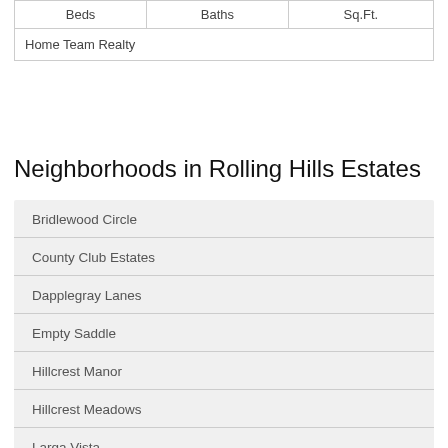| Beds | Baths | Sq.Ft. |
| --- | --- | --- |
| Home Team Realty |  |  |
Neighborhoods in Rolling Hills Estates
Bridlewood Circle
County Club Estates
Dapplegray Lanes
Empty Saddle
Hillcrest Manor
Hillcrest Meadows
Larga Vista
Los Ranchos Verdes